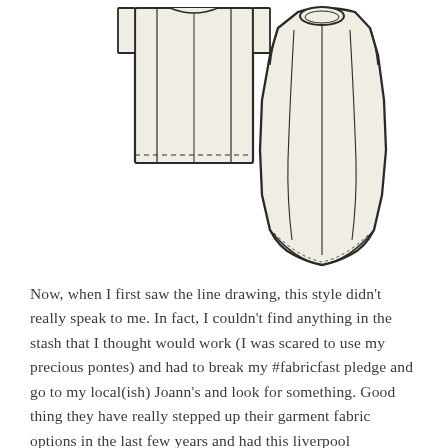[Figure (illustration): Two fashion flat sketches of a sleeveless top/tunic. Left: back view showing a rectangular boxy shape with a center seam and a dashed hemline at bottom. Right: front view of a sleeveless top with a round neckline, curved side seams, center front seam, and a curved hem. Both drawn in cream/off-white fill with dark outlines.]
Now, when I first saw the line drawing, this style didn't really speak to me. In fact, I couldn't find anything in the stash that I thought would work (I was scared to use my precious pontes) and had to break my #fabricfast pledge and go to my local(ish) Joann's and look for something. Good thing they have really stepped up their garment fabric options in the last few years and had this liverpool